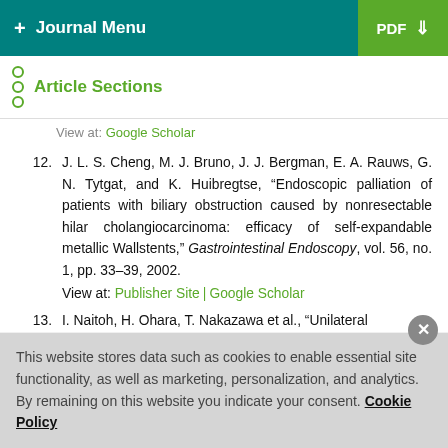+ Journal Menu | PDF
Article Sections
View at: Google Scholar
12. J. L. S. Cheng, M. J. Bruno, J. J. Bergman, E. A. Rauws, G. N. Tytgat, and K. Huibregtse, "Endoscopic palliation of patients with biliary obstruction caused by nonresectable hilar cholangiocarcinoma: efficacy of self-expandable metallic Wallstents," Gastrointestinal Endoscopy, vol. 56, no. 1, pp. 33–39, 2002. View at: Publisher Site | Google Scholar
13. I. Naitoh, H. Ohara, T. Nakazawa et al., "Unilateral
This website stores data such as cookies to enable essential site functionality, as well as marketing, personalization, and analytics. By remaining on this website you indicate your consent. Cookie Policy